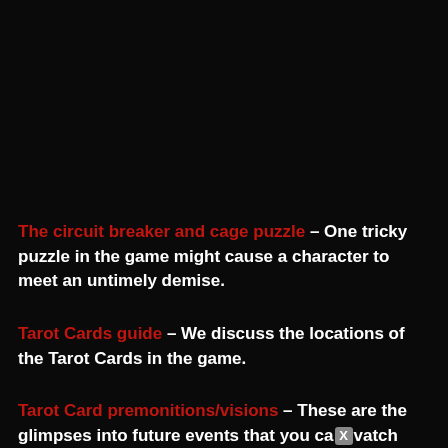The circuit breaker and cage puzzle – One tricky puzzle in the game might cause a character to meet an untimely demise.
Tarot Cards guide – We discuss the locations of the Tarot Cards in the game.
Tarot Card premonitions/visions – These are the glimpses into future events that you can watch based on the Tarot Cards that you've chosen.